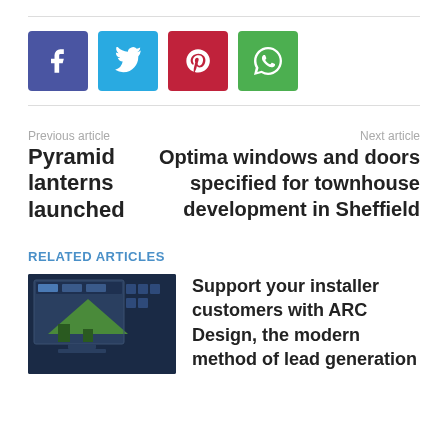[Figure (infographic): Social share buttons: Facebook (blue), Twitter (light blue), Pinterest (red), WhatsApp (green)]
Previous article
Pyramid lanterns launched
Next article
Optima windows and doors specified for townhouse development in Sheffield
RELATED ARTICLES
[Figure (screenshot): Screenshot of ARC Design software showing a house roof design tool on a dark background]
Support your installer customers with ARC Design, the modern method of lead generation